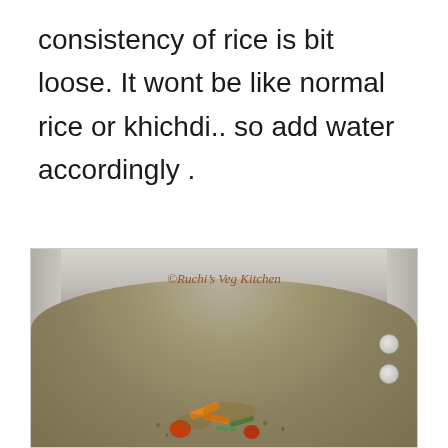consistency of rice is bit loose. It wont be like normal rice or khichdi.. so add water accordingly .
[Figure (photo): A stainless steel cooking pot/pressure cooker interior viewed from above, showing some cooked vegetables (carrots, green beans) and spices at the bottom. Watermark reads '© Ruchi's Veg Kitchen'.]